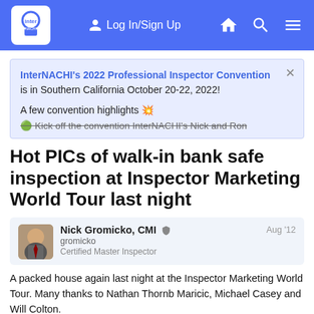InterNACHI forum navigation bar with Log In/Sign Up, home, search, and menu icons
InterNACHI's 2022 Professional Inspector Convention is in Southern California October 20-22, 2022! A few convention highlights 💥 Kick off the convention InterNACHI's Nick and Ron
Hot PICs of walk-in bank safe inspection at Inspector Marketing World Tour last night
Nick Gromicko, CMI
gromicko
Certified Master Inspector
Aug '12
A packed house again last night at the Inspector Marketing World Tour. Many thanks to Nathan Thornb Maricic, Michael Casey and Will Colton.
1 / 14